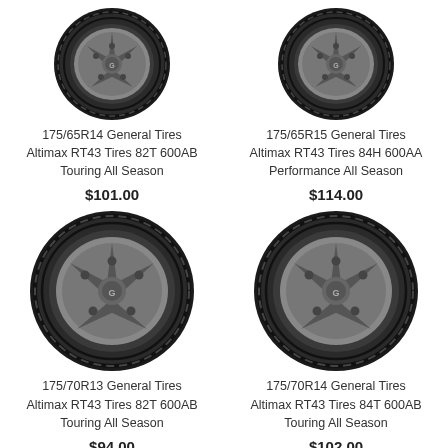[Figure (photo): Tire product image - 175/65R14 General Tires Altimax RT43 top left]
175/65R14 General Tires Altimax RT43 Tires 82T 600AB Touring All Season
$101.00
[Figure (photo): Tire product image - 175/65R15 General Tires Altimax RT43 top right]
175/65R15 General Tires Altimax RT43 Tires 84H 600AA Performance All Season
$114.00
[Figure (photo): Tire product image - 175/70R13 General Tires Altimax RT43 bottom left]
175/70R13 General Tires Altimax RT43 Tires 82T 600AB Touring All Season
$94.00
[Figure (photo): Tire product image - 175/70R14 General Tires Altimax RT43 bottom right]
175/70R14 General Tires Altimax RT43 Tires 84T 600AB Touring All Season
$102.00